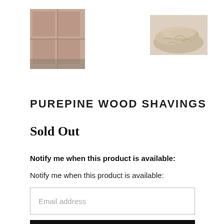[Figure (photo): Two product photos side by side: left shows stacked boxes/pallets of PurePine wood shavings; right shows a pile of wood shavings material]
PUREPINE WOOD SHAVINGS
Sold Out
Notify me when this product is available:
Notify me when this product is available:
Email address
SEND